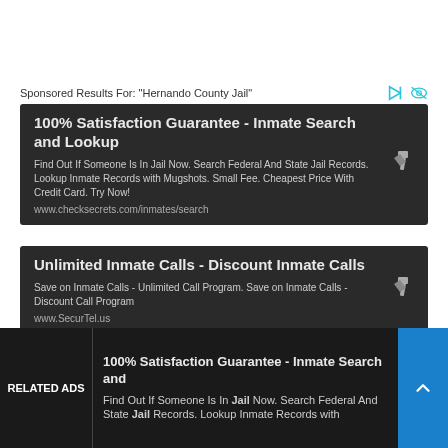Sponsored Results For: "Hernando County Jail"
100% Satisfaction Guarantee - Inmate Search and Lookup
Find Out If Someone Is In Jail Now. Search Federal And State Jail Records. Lookup Inmate Records with Mugshots. Small Fee. Cheapest Price With Credit Card. Try Now!
www.checksecrets.com/inmates/search
Unlimited Inmate Calls - Discount Inmate Calls
Save on Inmate Calls - Unlimited Call Program. Save on Inmate Calls - Discount Call Program
www.SecurTel.us
RELATED ADS
100% Satisfaction Guarantee - Inmate Search and
Find Out If Someone Is In Jail Now. Search Federal And State Jail Records. Lookup Inmate Records with